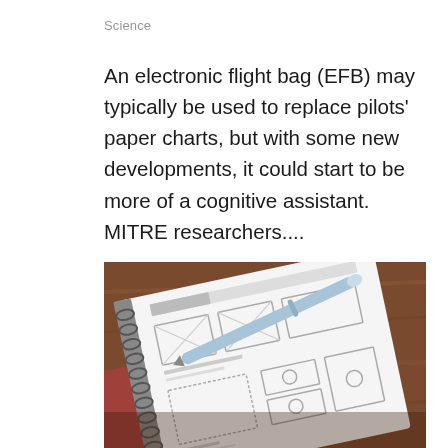Science
An electronic flight bag (EFB) may typically be used to replace pilots' paper charts, but with some new developments, it could start to be more of a cognitive assistant. MITRE researchers....
[Figure (photo): A spiral-bound notebook open to wireframe sketches/UI mockups, with a blue stylus pen resting on it, and a smartphone partially visible at the lower left, all on a wooden surface.]